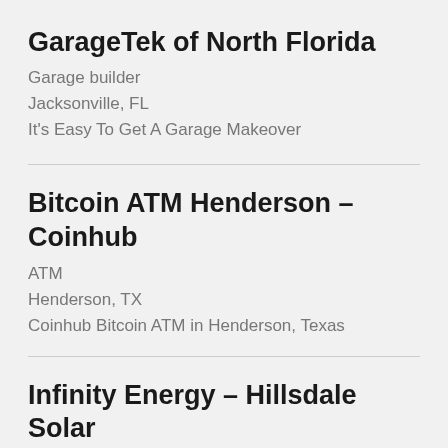GarageTek of North Florida
Garage builder
Jacksonville, FL
It's Easy To Get A Garage Makeover
Bitcoin ATM Henderson – Coinhub
ATM
Henderson, TX
Coinhub Bitcoin ATM in Henderson, Texas
Infinity Energy – Hillsdale Solar Energy Contractor